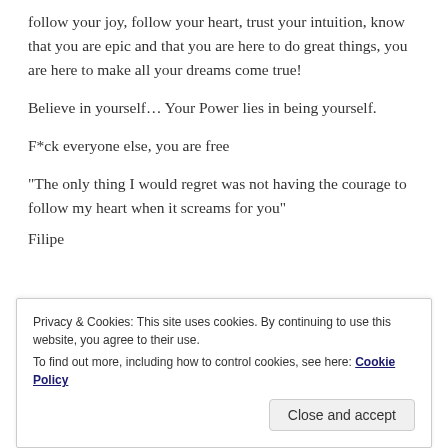follow your joy, follow your heart, trust your intuition, know that you are epic and that you are here to do great things, you are here to make all your dreams come true!
Believe in yourself… Your Power lies in being yourself.
F*ck everyone else, you are free
“The only thing I would regret was not having the courage to follow my heart when it screams for you”
Filipe
Privacy & Cookies: This site uses cookies. By continuing to use this website, you agree to their use.
To find out more, including how to control cookies, see here: Cookie Policy